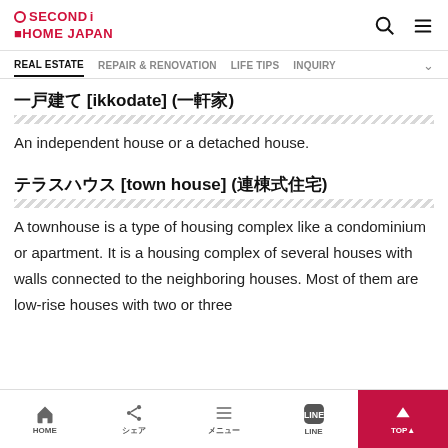SECOND HOME JAPAN
REAL ESTATE | REPAIR & RENOVATION | LIFE TIPS | INQUIRY
一戸建て [ikkodate] (一軒家)
An independent house or a detached house.
テラスハウス [town house] (連棟式住宅)
A townhouse is a type of housing complex like a condominium or apartment. It is a housing complex of several houses with walls connected to the neighboring houses. Most of them are low-rise houses with two or three
HOME  シェア  メニュー  LINE  TOPU